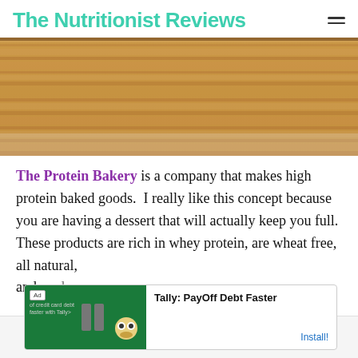The Nutritionist Reviews
[Figure (photo): Close-up photo of a wooden surface or baked good with warm brown tones and wood grain texture]
The Protein Bakery is a company that makes high protein baked goods.  I really like this concept because you are having a dessert that will actually keep you full.  These products are rich in whey protein, are wheat free, all natural, and ...ed
[Figure (other): Advertisement banner: Tally: PayOff Debt Faster - Install button]
Social share icons: Pinterest, Facebook, Email, Twitter, WhatsApp